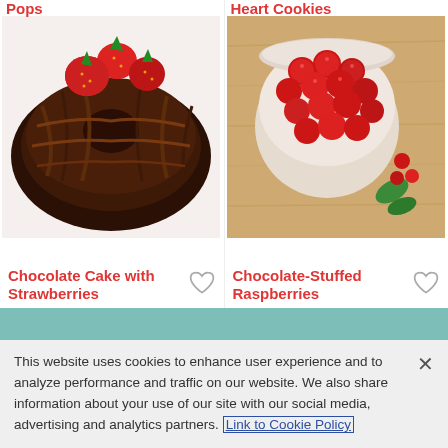Pops
Heart Cookies
[Figure (photo): Chocolate bundt cake with chocolate drizzle and fresh strawberries on top]
Chocolate Cake with Strawberries
[Figure (photo): Bowl of chocolate-stuffed raspberries on a wooden cutting board with mint leaves]
Chocolate-Stuffed Raspberries
Follow Us
This website uses cookies to enhance user experience and to analyze performance and traffic on our website. We also share information about your use of our site with our social media, advertising and analytics partners. Link to Cookie Policy